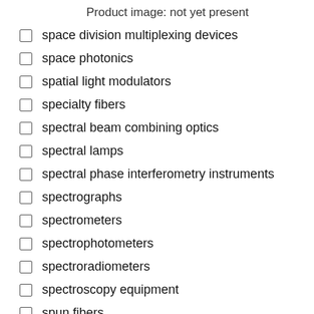Product image: not yet present
space division multiplexing devices
space photonics
spatial light modulators
specialty fibers
spectral beam combining optics
spectral lamps
spectral phase interferometry instruments
spectrographs
spectrometers
spectrophotometers
spectroradiometers
spectroscopy equipment
spun fibers